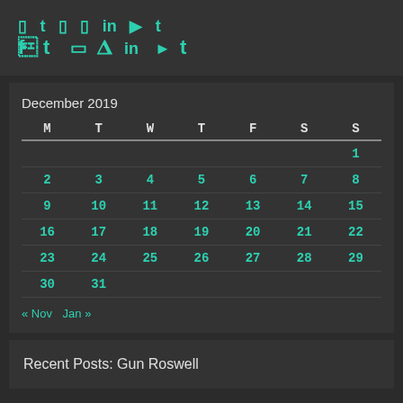[Figure (infographic): Social media icons: Facebook, Twitter, Instagram, Pinterest, LinkedIn, YouTube, Tumblr in teal color]
December 2019
| M | T | W | T | F | S | S |
| --- | --- | --- | --- | --- | --- | --- |
|  |  |  |  |  |  | 1 |
| 2 | 3 | 4 | 5 | 6 | 7 | 8 |
| 9 | 10 | 11 | 12 | 13 | 14 | 15 |
| 16 | 17 | 18 | 19 | 20 | 21 | 22 |
| 23 | 24 | 25 | 26 | 27 | 28 | 29 |
| 30 | 31 |  |  |  |  |  |
« Nov   Jan »
Recent Posts: Gun Roswell